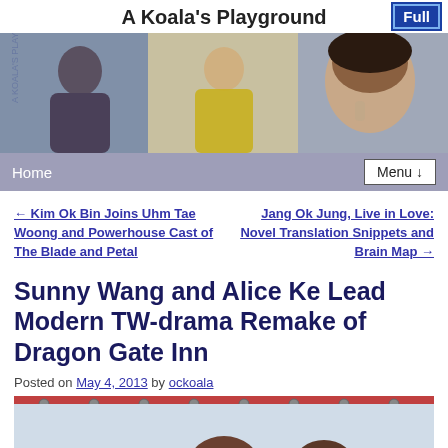A Koala's Playground
[Figure (photo): Banner image showing three female Korean celebrities in a collage style photo]
Home | Menu ↓
← Kim Ok Bin Joins Uhm Tae Woong and Powerhouse Cast of The Blade and Petal
Jang Ok Jung, Live in Love: Novel Translation Snippets and Brain Map →
Sunny Wang and Alice Ke Lead Modern TW-drama Remake of Dragon Gate Inn
Posted on May 4, 2013 by ockoala
[Figure (photo): Photo of actors, partial view showing a person from behind and someone's head in the foreground]